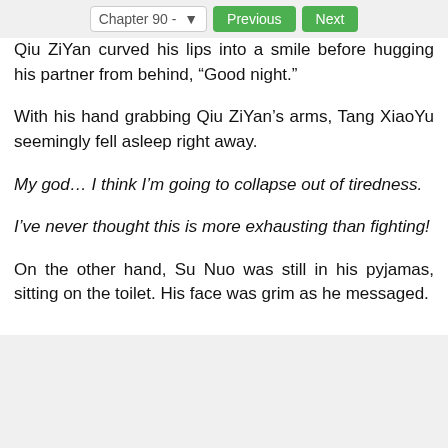Chapter 90 -   Previous   Next
Qiu ZiYan curved his lips into a smile before hugging his partner from behind, “Good night.”
With his hand grabbing Qiu ZiYan’s arms, Tang XiaoYu seemingly fell asleep right away.
My god… I think I’m going to collapse out of tiredness.
I’ve never thought this is more exhausting than fighting!
On the other hand, Su Nuo was still in his pyjamas, sitting on the toilet. His face was grim as he messaged.